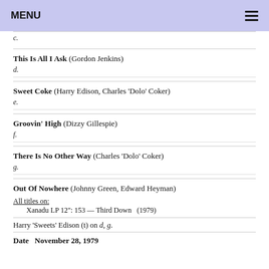MENU
c.
This Is All I Ask  (Gordon Jenkins)
d.
Sweet Coke  (Harry Edison, Charles 'Dolo' Coker)
e.
Groovin' High  (Dizzy Gillespie)
f.
There Is No Other Way  (Charles 'Dolo' Coker)
g.
Out Of Nowhere  (Johnny Green, Edward Heyman)
All titles on:
    Xanadu LP 12": 153 — Third Down   (1979)
Harry 'Sweets' Edison (t) on d, g.
Date   November 28, 1979